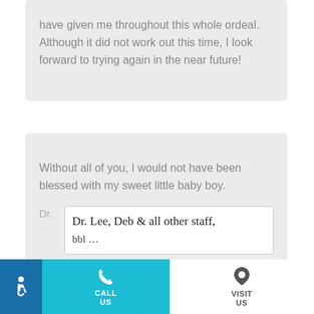have given me throughout this whole ordeal. Although it did not work out this time, I look forward to trying again in the near future!
Without all of you, I would not have been blessed with my sweet little baby boy.
Dr. Dr. Lee, Deb & all other staff,
[Figure (other): Website footer bar with teal CALL US section (phone icon), accessibility icon on blue background, and white VISIT US section with location pin icon]